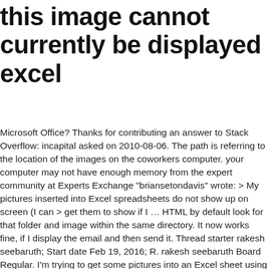this image cannot currently be displayed excel
Microsoft Office? Thanks for contributing an answer to Stack Overflow: incapital asked on 2010-08-06. The path is referring to the location of the images on the coworkers computer. your computer may not have enough memory from the expert community at Experts Exchange "briansetondavis" wrote: > My pictures inserted into Excel spreadsheets do not show up on screen (I can > get them to show if I … HTML by default look for that folder and image within the same directory. It now works fine, if I display the email and then send it. Thread starter rakesh seebaruth; Start date Feb 19, 2016; R. rakesh seebaruth Board Regular. I'm trying to get some pictures into an Excel sheet using the following: Sub Addpicture() Dim strPath Dim p As Object strPath = Set p = ActiveSheet.Shapes.Addpicture(strPath, msoCTrue, msoTrue, 1000, 10, … Joined Nov 10, 2016 Messages 3. If I knock down this building, how many other buildings do I knock down as well? The path is referring to the location of the images on the coworkers computer. To insert a picture permanently into an Excel file try the following: The file may have been moved, renamed, or deleted. Excel 2013 is reporting "This image cannot be displayed" when I use the Camera tool? site design / logo ©